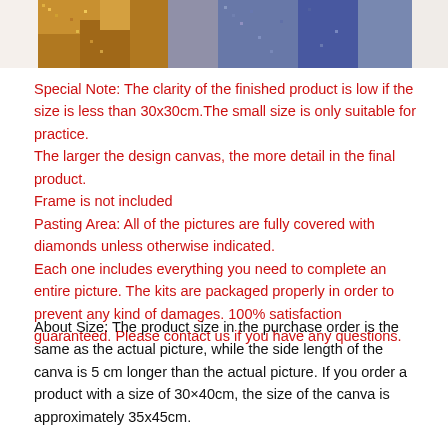[Figure (photo): Cropped photo of a diamond painting artwork showing gold/brown tones on left and blue/purple tones on right, with a pixelated/bead texture visible.]
Special Note: The clarity of the finished product is low if the size is less than 30x30cm.The small size is only suitable for practice.
The larger the design canvas, the more detail in the final product.
Frame is not included
Pasting Area: All of the pictures are fully covered with diamonds unless otherwise indicated.
Each one includes everything you need to complete an entire picture. The kits are packaged properly in order to prevent any kind of damages. 100% satisfaction guaranteed. Please contact us if you have any questions.
About Size: The product size in the purchase order is the same as the actual picture, while the side length of the canva is 5 cm longer than the actual picture. If you order a product with a size of 30×40cm, the size of the canva is approximately 35x45cm.